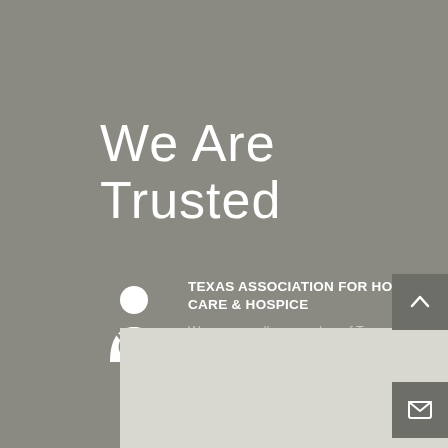We Are Trusted
[Figure (illustration): White icon of a person (doctor/caregiver) with a stethoscope symbol below]
TEXAS ASSOCIATION FOR HOME CARE & HOSPICE
We are proudly a member of Texas Association for Home Care & Hospice
[Figure (photo): Light gray placeholder image at the bottom of the page]
[Figure (other): Dark gray scroll-up button with an upward chevron arrow icon]
[Figure (other): Dark gray email button with an envelope icon]